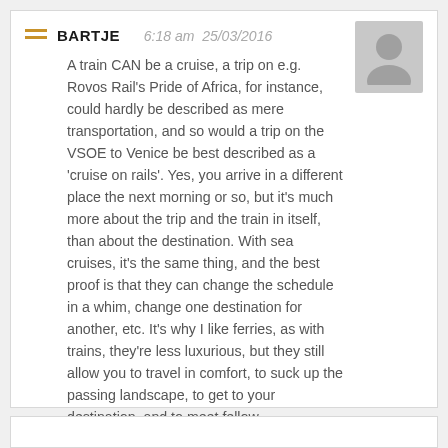BARTJE   6:18 am  25/03/2016
A train CAN be a cruise, a trip on e.g. Rovos Rail's Pride of Africa, for instance, could hardly be described as mere transportation, and so would a trip on the VSOE to Venice be best described as a 'cruise on rails'. Yes, you arrive in a different place the next morning or so, but it's much more about the trip and the train in itself, than about the destination. With sea cruises, it's the same thing, and the best proof is that they can change the schedule in a whim, change one destination for another, etc. It's why I like ferries, as with trains, they're less luxurious, but they still allow you to travel in comfort, to suck up the passing landscape, to get to your destination, and to meet fellow passengers...
Reply